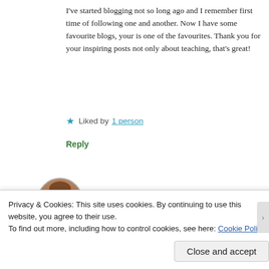I've started blogging not so long ago and I remember first time of following one and another. Now I have some favourite blogs, your is one of the favourites. Thank you for your inspiring posts not only about teaching, that's great!
★ Liked by 1 person
Reply
[Figure (photo): Circular avatar photo of joannamalefaki, a woman smiling, brown hair]
joannamalefaki | May 26, 2015 at 11:11 am
Hi Anna!!
Privacy & Cookies: This site uses cookies. By continuing to use this website, you agree to their use.
To find out more, including how to control cookies, see here: Cookie Policy
Close and accept